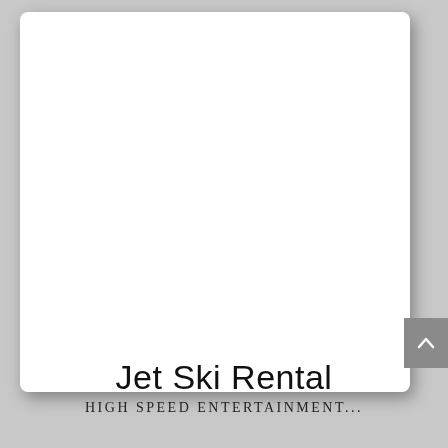[Figure (screenshot): White card panel with rounded corners and drop shadow on a grey background, with a grey scroll-to-top button visible on the right side.]
Jet Ski Rental
High Speed Entertainment...